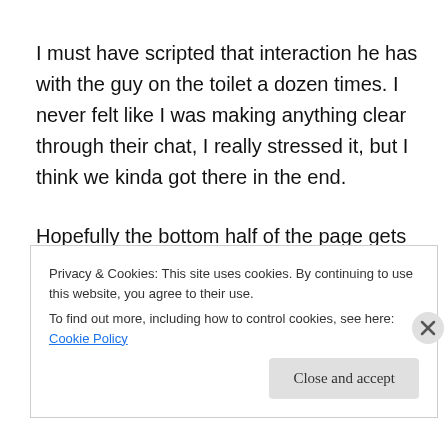I must have scripted that interaction he has with the guy on the toilet a dozen times. I never felt like I was making anything clear through their chat, I really stressed it, but I think we kinda got there in the end.
Hopefully the bottom half of the page gets us there anyway because Tree's funky red background for the toothpaste is so wild, and then she and Sami just jam so well on that mirror turning into this weird circuit board in
Privacy & Cookies: This site uses cookies. By continuing to use this website, you agree to their use.
To find out more, including how to control cookies, see here: Cookie Policy
Close and accept